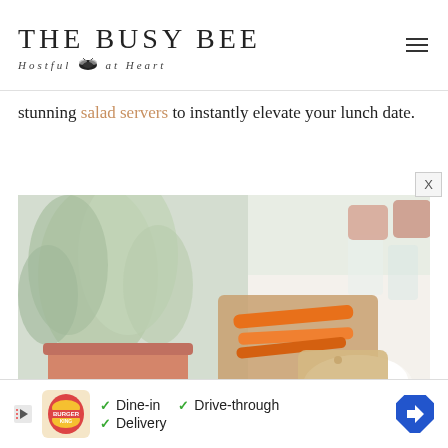THE BUSY BEE — Hostful at Heart
stunning salad servers to instantly elevate your lunch date.
[Figure (photo): A styled lunch table setting with a terracotta pot of herbs, a wooden cutting board with carrots, glass tumblers, and a white ceramic bowl with a wooden salad server.]
[Figure (infographic): Burger King advertisement banner showing logo, Dine-in, Drive-through, and Delivery options with a blue direction arrow icon.]